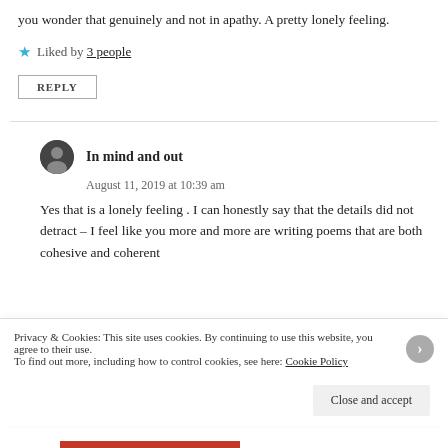you wonder that genuinely and not in apathy. A pretty lonely feeling.
★ Liked by 3 people
REPLY
In mind and out
August 11, 2019 at 10:39 am
Yes that is a lonely feeling . I can honestly say that the details did not detract – I feel like you more and more are writing poems that are both cohesive and coherent
Privacy & Cookies: This site uses cookies. By continuing to use this website, you agree to their use. To find out more, including how to control cookies, see here: Cookie Policy
Close and accept